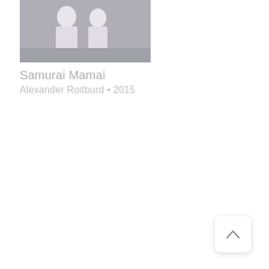[Figure (photo): Thumbnail photo showing two figures in light-colored outfits against a dark background, likely artwork related to Samurai Mamai]
Samurai Mamai
Alexander Roitburd • 2015
[Figure (other): Back to top navigation button with upward chevron arrow icon]